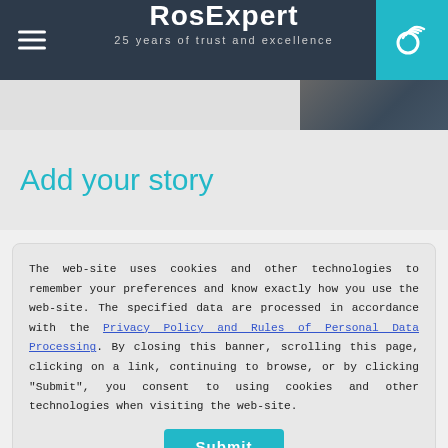RosExpert — 25 years of trust and excellence
[Figure (photo): Partial view of a man in a suit, image strip below the header]
Add your story
The web-site uses cookies and other technologies to remember your preferences and know exactly how you use the web-site. The specified data are processed in accordance with the Privacy Policy and Rules of Personal Data Processing. By closing this banner, scrolling this page, clicking on a link, continuing to browse, or by clicking "Submit", you consent to using cookies and other technologies when visiting the web-site.